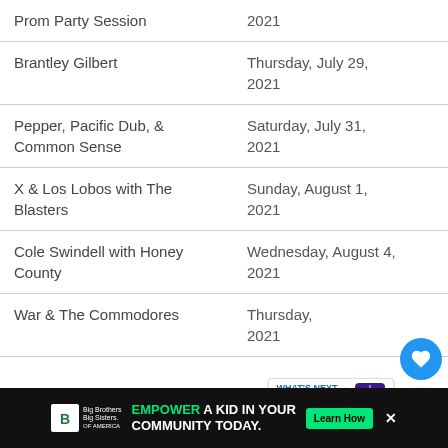| Artist | Date |
| --- | --- |
| Prom Party Session | 2021 |
| Brantley Gilbert | Thursday, July 29, 2021 |
| Pepper, Pacific Dub, & Common Sense | Saturday, July 31, 2021 |
| X & Los Lobos with The Blasters | Sunday, August 1, 2021 |
| Cole Swindell with Honey County | Wednesday, August 4, 2021 |
| War & The Commodores | Thursday, 2021 |
[Figure (other): Blue circular heart/favorite button FAB]
[Figure (other): White circular share button FAB]
[Figure (other): What's Next banner with Orange County Eve... thumbnail]
[Figure (other): Big Brothers Big Sisters advertisement bar - EMPOWER A KID IN YOUR COMMUNITY TODAY. Learn How]